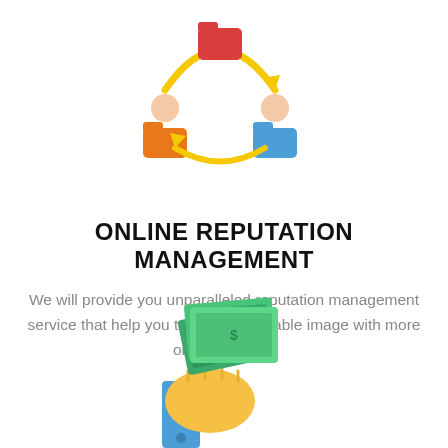[Figure (illustration): Two cartoon figures exchanging items (red folder and orange/blue folders) with yellow arrows showing transfer between them — online reputation management concept illustration]
ONLINE REPUTATION MANAGEMENT
We will provide you unparalleled reputation management service that help you to earn the reliable image with more online visibility.
[Figure (illustration): A hand holding a stack of green money bills — payment/finance concept illustration]